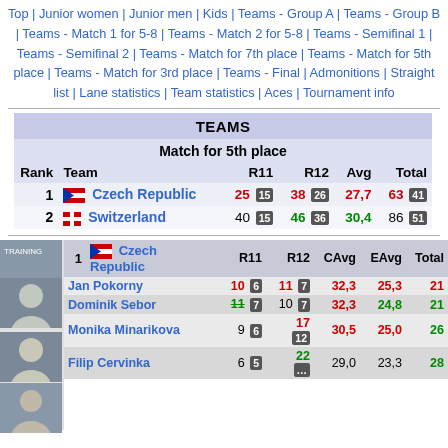Top | Junior women | Junior men | Kids | Teams - Group A | Teams - Group B | Teams - Match 1 for 5-8 | Teams - Match 2 for 5-8 | Teams - Semifinal 1 | Teams - Semifinal 2 | Teams - Match for 7th place | Teams - Match for 5th place | Teams - Match for 3rd place | Teams - Final | Admonitions | Straight list | Lane statistics | Team statistics | Aces | Tournament info
| Rank | Team | R11 | R12 | Avg | Total |
| --- | --- | --- | --- | --- | --- |
| 1 | Czech Republic | 25 15 | 38 26 | 27,7 | 63 41 |
| 2 | Switzerland | 40 15 | 46 36 | 30,4 | 86 51 |
|  | 1 Czech Republic | R11 | R12 | CAvg | EAvg | Total |
| --- | --- | --- | --- | --- | --- | --- |
|  | Jan Pokorny | 10 6 | 11 7 | 32,3 | 25,3 | 21 |
|  | Dominik Sebor | 11 7 | 10 7 | 32,3 | 24,8 | 21 |
|  | Monika Minarikova | 9 6 | 17 12 | 30,5 | 25,0 | 26 |
|  | Filip Cervinka | 6 5 | 22 ... | 29,0 | 23,3 | 28 |